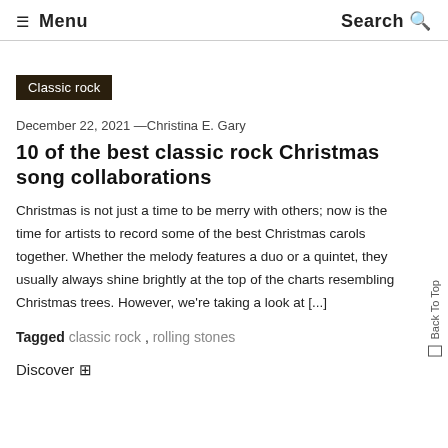☰ Menu    Search 🔍
Classic rock
December 22, 2021 —Christina E. Gary
10 of the best classic rock Christmas song collaborations
Christmas is not just a time to be merry with others; now is the time for artists to record some of the best Christmas carols together. Whether the melody features a duo or a quintet, they usually always shine brightly at the top of the charts resembling Christmas trees. However, we're taking a look at [...]
Tagged classic rock , rolling stones
Discover 🔍